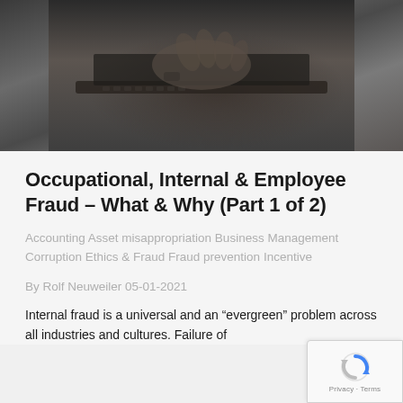[Figure (photo): Dark photo of hands typing on a laptop keyboard, viewed from above, moody dark lighting]
Occupational, Internal & Employee Fraud – What & Why (Part 1 of 2)
Accounting Asset misappropriation Business Management Corruption Ethics & Fraud Fraud prevention Incentive
By Rolf Neuweiler 05-01-2021
Internal fraud is a universal and an “evergreen” problem across all industries and cultures. Failure of